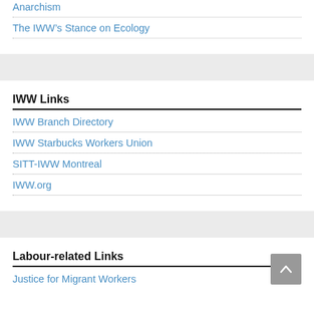Anarchism
The IWW’s Stance on Ecology
IWW Links
IWW Branch Directory
IWW Starbucks Workers Union
SITT-IWW Montreal
IWW.org
Labour-related Links
Justice for Migrant Workers